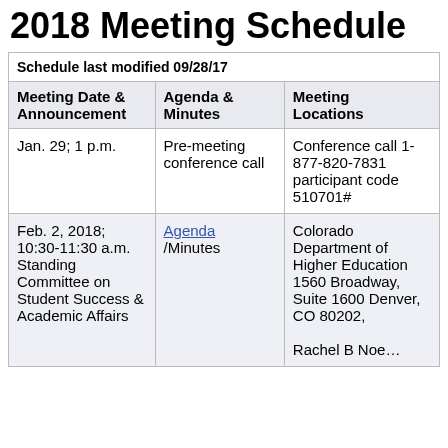2018 Meeting Schedule
| Meeting Date & Announcement | Agenda & Minutes | Meeting Locations |
| --- | --- | --- |
| Schedule last modified 09/28/17 |  |  |
| Jan. 29; 1 p.m. | Pre-meeting conference call | Conference call 1-877-820-7831 participant code 510701# |
| Feb. 2, 2018; 10:30-11:30 a.m. Standing Committee on Student Success & Academic Affairs | Agenda /Minutes | Colorado Department of Higher Education 1560 Broadway, Suite 1600 Denver, CO 80202, Rachel B Noe... |